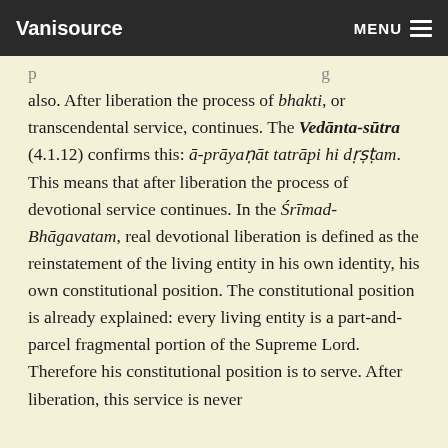Vanisource   MENU
p ... g also. After liberation the process of bhakti, or transcendental service, continues. The Vedānta-sūtra (4.1.12) confirms this: ā-prāyaṇāt tatrāpi hi dṛṣṭam. This means that after liberation the process of devotional service continues. In the Śrīmad-Bhāgavatam, real devotional liberation is defined as the reinstatement of the living entity in his own identity, his own constitutional position. The constitutional position is already explained: every living entity is a part-and-parcel fragmental portion of the Supreme Lord. Therefore his constitutional position is to serve. After liberation, this service is never